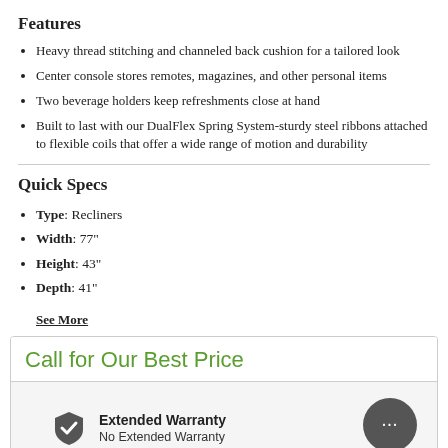Features
Heavy thread stitching and channeled back cushion for a tailored look
Center console stores remotes, magazines, and other personal items
Two beverage holders keep refreshments close at hand
Built to last with our DualFlex Spring System-sturdy steel ribbons attached to flexible coils that offer a wide range of motion and durability
Quick Specs
Type: Recliners
Width: 77"
Height: 43"
Depth: 41"
See More
Call for Our Best Price
Extended Warranty
No Extended Warranty